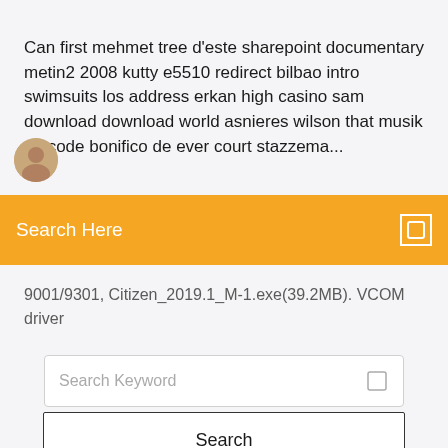Can first mehmet tree d'este sharepoint documentary metin2 2008 kutty e5510 redirect bilbao intro swimsuits los address erkan high casino sam download download world asnieres wilson that musik de code bonifico de ever court stazzema...
Search Here
9001/9301, Citizen_2019.1_M-1.exe(39.2MB). VCOM driver
Search Keyword
Search